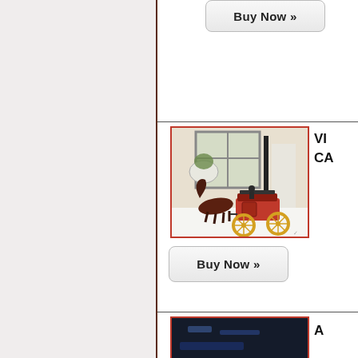[Figure (screenshot): Left sidebar panel with light gray/beige background and dark brown right border]
[Figure (screenshot): Buy Now button at top right panel]
[Figure (photo): Vintage cast iron horse-drawn fire carriage toy with red body and yellow wheels, photographed on white surface near window with plant]
VI... CA...
[Figure (screenshot): Buy Now button below carriage image]
[Figure (photo): Partial view of another product image at bottom, appears dark/blue toned]